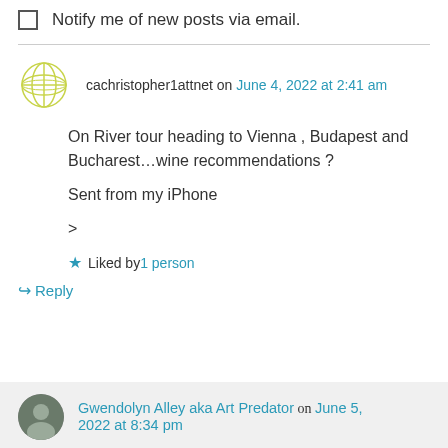Notify me of new posts via email.
cachristopher1attnet on June 4, 2022 at 2:41 am
On River tour heading to Vienna , Budapest and Bucharest…wine recommendations ?
Sent from my iPhone
>
Liked by 1 person
Reply
Gwendolyn Alley aka Art Predator on June 5, 2022 at 8:34 pm